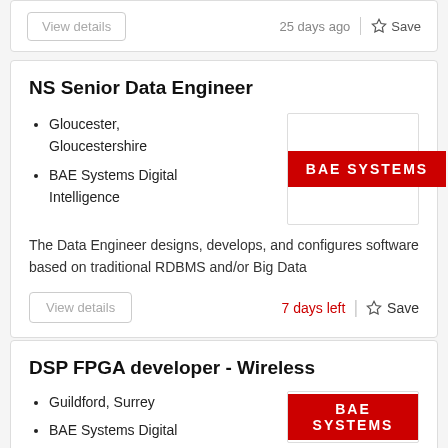View details
25 days ago
Save
NS Senior Data Engineer
Gloucester, Gloucestershire
BAE Systems Digital Intelligence
[Figure (logo): BAE SYSTEMS logo — white text on red background]
The Data Engineer designs, develops, and configures software based on traditional RDBMS and/or Big Data
View details
7 days left
Save
DSP FPGA developer - Wireless
Guildford, Surrey
[Figure (logo): BAE Systems logo — red banner partially visible]